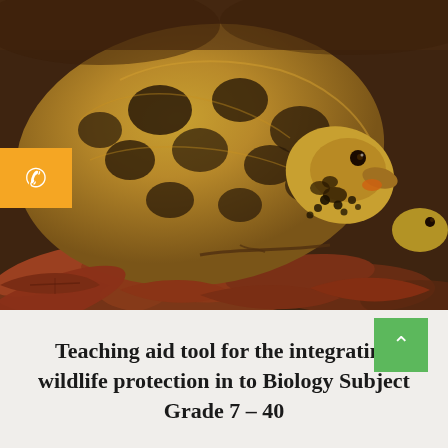[Figure (photo): Close-up photograph of a tortoise (leopard tortoise) among dried autumn leaves, with patterned shell visible and head extended. An orange badge with a phone icon appears on the left side overlaying the photo.]
Teaching aid tool for the integrating wildlife protection in to Biology Subject Grade 7 – 40